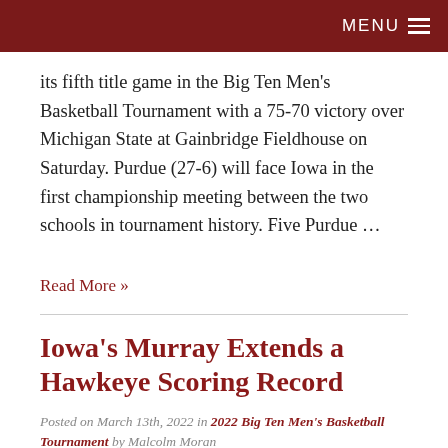MENU
its fifth title game in the Big Ten Men's Basketball Tournament with a 75-70 victory over Michigan State at Gainbridge Fieldhouse on Saturday. Purdue (27-6) will face Iowa in the first championship meeting between the two schools in tournament history. Five Purdue …
Read More »
Iowa's Murray Extends a Hawkeye Scoring Record
Posted on March 13th, 2022 in 2022 Big Ten Men's Basketball Tournament by Malcolm Moran
By Michael Hammonds, Sports Capital Journalism